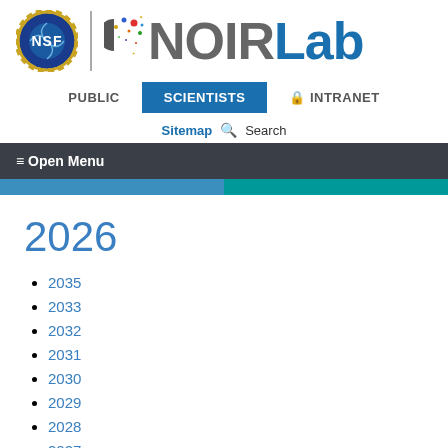[Figure (logo): NSF NOIRLab logo with NSF circular badge and colorful dot pattern next to 'NOIRLab' text]
PUBLIC | SCIENTISTS | INTRANET
Sitemap  Search
≡ Open Menu
2026
2035
2033
2032
2031
2030
2029
2028
2027
2026
2025